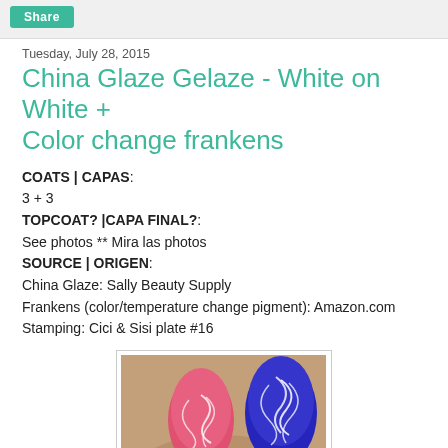Share
Tuesday, July 28, 2015
China Glaze Gelaze - White on White + Color change frankens
COATS | CAPAS: 3 + 3
TOPCOAT? |CAPA FINAL?: See photos ** Mira las photos
SOURCE | ORIGEN: China Glaze: Sally Beauty Supply
Frankens (color/temperature change pigment): Amazon.com
Stamping: Cici & Sisi plate #16
[Figure (photo): Close-up photo of two fingernails with decorative white swirl stamping pattern. One nail is pink/red, one is blue/purple.]